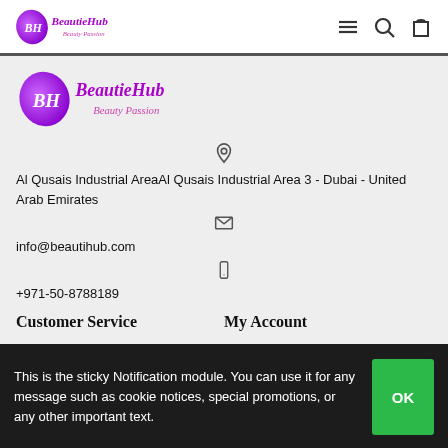BeautieHub Beauty Passion — navigation header with menu, search, and cart icons
[Figure (logo): BeautieHub Beauty Passion logo — purple heart/leaf shape with BH monogram and stylized script text]
Al Qusais Industrial AreaAl Qusais Industrial Area 3 - Dubai - United Arab Emirates
info@beautihub.com
+971-50-8788189
Customer Service
My Account
This is the sticky Notification module. You can use it for any message such as cookie notices, special promotions, or any other important text.